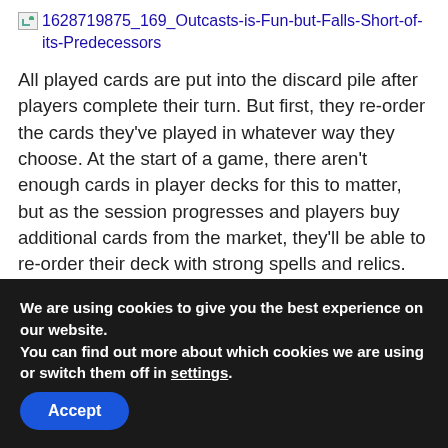[Figure (other): Broken image icon placeholder with filename label: 1628719875_169_Outcasts-is-Fun-but-Falls-Short-of-its-Predecessors]
All played cards are put into the discard pile after players complete their turn. But first, they re-order the cards they've played in whatever way they choose. At the start of a game, there aren't enough cards in player decks for this to matter, but as the session progresses and players buy additional cards from the market, they'll be able to re-order their deck with strong spells and relics. This versatility allows players to arrange their card order to favor spell, relic, or Aether heavy
We are using cookies to give you the best experience on our website.
You can find out more about which cookies we are using or switch them off in settings.
Accept